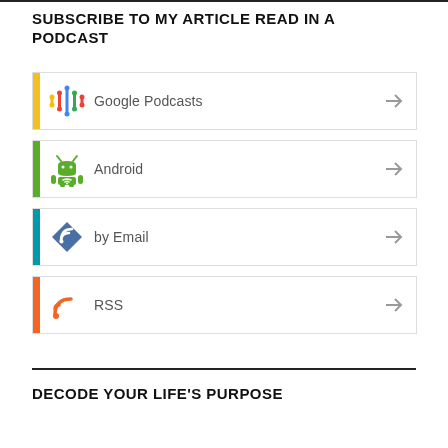SUBSCRIBE TO MY ARTICLE READ IN A PODCAST
Google Podcasts
Android
by Email
RSS
DECODE YOUR LIFE'S PURPOSE